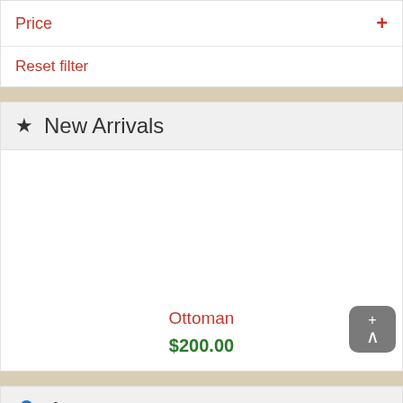Price
Reset filter
★ New Arrivals
Ottoman
$200.00
👤 Account
Special
Information